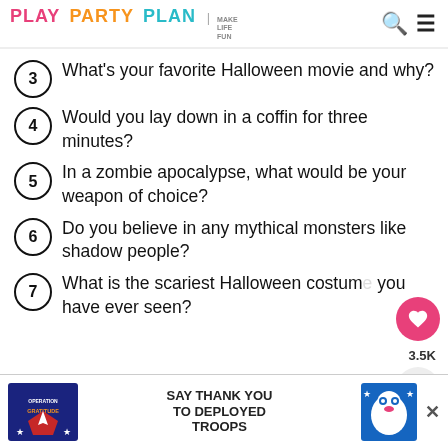PLAY PARTY PLAN | MAKE LIFE FUN
3) What's your favorite Halloween movie and why?
4) Would you lay down in a coffin for three minutes?
5) In a zombie apocalypse, what would be your weapon of choice?
6) Do you believe in any mythical monsters like shadow people?
7) What is the scariest Halloween costume you have ever seen?
[Figure (screenshot): Advertisement banner for Operation Gratitude: SAY THANK YOU TO DEPLOYED TROOPS with close button]